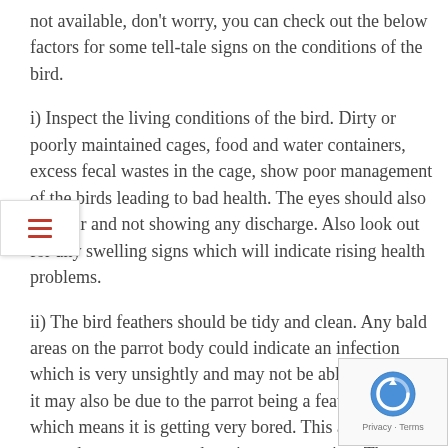not available, don't worry, you can check out the below factors for some tell-tale signs on the conditions of the bird.
i) Inspect the living conditions of the bird. Dirty or poorly maintained cages, food and water containers, excess fecal wastes in the cage, show poor management of the birds leading to bad health. The eyes should also be clear and not showing any discharge. Also look out for any swelling signs which will indicate rising health problems.
ii) The bird feathers should be tidy and clean. Any bald areas on the parrot body could indicate an infection which is very unsightly and may not be able to cure, or it may also be due to the parrot being a feather plucker which means it is getting very bored. This activity may stop when you start to show it more attention. Then again, it is better to stay clear of such birds, since they could be carrying diseases on their bodies which you don't want it to spread to your family members.
iii) Support the bird on its back and check the vent for cleanliness